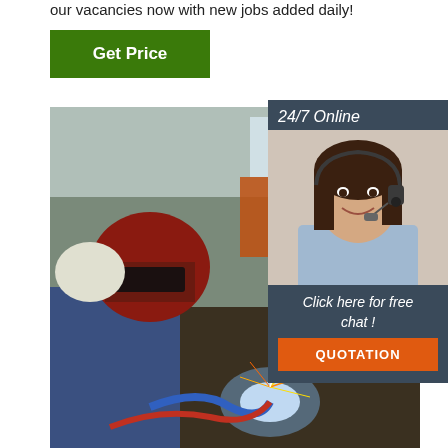our vacancies now with new jobs added daily!
[Figure (other): Green 'Get Price' button]
[Figure (photo): Industrial welding scene: worker in blue uniform and red welding helmet welding in a factory with orange machinery and bright welding sparks]
[Figure (other): Sidebar: 24/7 Online banner with customer service woman wearing headset, 'Click here for free chat!' text, and orange QUOTATION button]